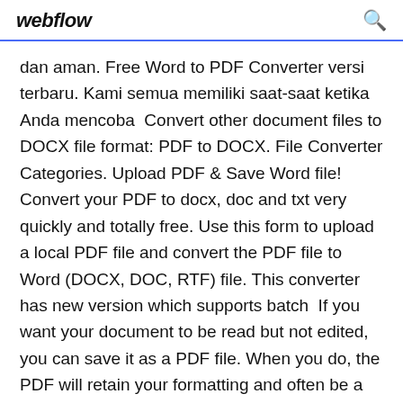webflow
dan aman. Free Word to PDF Converter versi terbaru. Kami semua memiliki saat-saat ketika Anda mencoba  Convert other document files to DOCX file format: PDF to DOCX. File Converter Categories. Upload PDF & Save Word file! Convert your PDF to docx, doc and txt very quickly and totally free. Use this form to upload a local PDF file and convert the PDF file to Word (DOCX, DOC, RTF) file. This converter has new version which supports batch  If you want your document to be read but not edited, you can save it as a PDF file. When you do, the PDF will retain your formatting and often be a smaller file